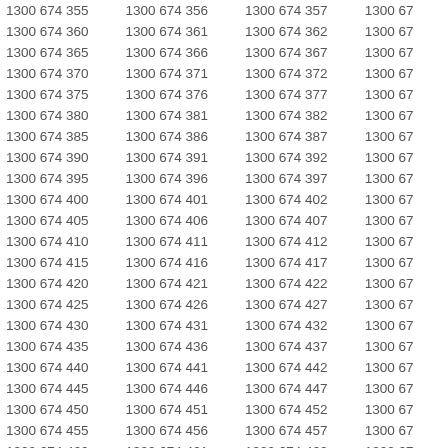| 1300 674 355 | 1300 674 356 | 1300 674 357 | 1300 67 |
| 1300 674 360 | 1300 674 361 | 1300 674 362 | 1300 67 |
| 1300 674 365 | 1300 674 366 | 1300 674 367 | 1300 67 |
| 1300 674 370 | 1300 674 371 | 1300 674 372 | 1300 67 |
| 1300 674 375 | 1300 674 376 | 1300 674 377 | 1300 67 |
| 1300 674 380 | 1300 674 381 | 1300 674 382 | 1300 67 |
| 1300 674 385 | 1300 674 386 | 1300 674 387 | 1300 67 |
| 1300 674 390 | 1300 674 391 | 1300 674 392 | 1300 67 |
| 1300 674 395 | 1300 674 396 | 1300 674 397 | 1300 67 |
| 1300 674 400 | 1300 674 401 | 1300 674 402 | 1300 67 |
| 1300 674 405 | 1300 674 406 | 1300 674 407 | 1300 67 |
| 1300 674 410 | 1300 674 411 | 1300 674 412 | 1300 67 |
| 1300 674 415 | 1300 674 416 | 1300 674 417 | 1300 67 |
| 1300 674 420 | 1300 674 421 | 1300 674 422 | 1300 67 |
| 1300 674 425 | 1300 674 426 | 1300 674 427 | 1300 67 |
| 1300 674 430 | 1300 674 431 | 1300 674 432 | 1300 67 |
| 1300 674 435 | 1300 674 436 | 1300 674 437 | 1300 67 |
| 1300 674 440 | 1300 674 441 | 1300 674 442 | 1300 67 |
| 1300 674 445 | 1300 674 446 | 1300 674 447 | 1300 67 |
| 1300 674 450 | 1300 674 451 | 1300 674 452 | 1300 67 |
| 1300 674 455 | 1300 674 456 | 1300 674 457 | 1300 67 |
| 1300 674 460 | 1300 674 461 | 1300 674 462 | 1300 67 |
| 1300 674 465 | 1300 674 466 | 1300 674 467 | 1300 67 |
| 1300 674 470 | 1300 674 471 | 1300 674 472 | 1300 67 |